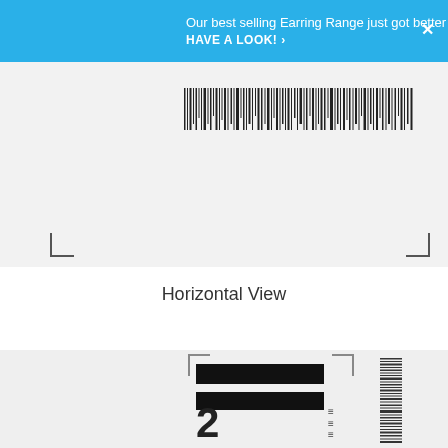Our best selling Earring Range just got better HAVE A LOOK! ›
[Figure (other): Horizontal barcode strip on light grey background with corner registration marks]
Horizontal View
[Figure (other): Product viewer/scanner interface showing black label bars, numeral 2, vertical barcode, rotated text labels C-KTGE-LGUU and r Gates, and line markers]